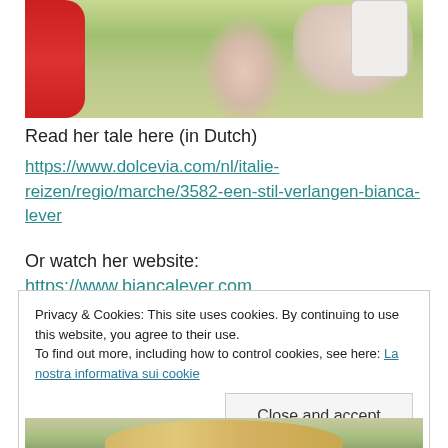[Figure (photo): Painting or illustration of a person holding a phone, wearing red clothing, with green background on the right side. Close-up of hand and torso area.]
Read her tale here (in Dutch)
https://www.dolcevia.com/nl/italie-reizen/regio/marche/3582-een-stil-verlangen-bianca-lever
Or watch her website: https://www.biancalever.com
Privacy & Cookies: This site uses cookies. By continuing to use this website, you agree to their use.
To find out more, including how to control cookies, see here: La nostra informativa sui cookie
Close and accept
[Figure (photo): Bottom portion of a photo showing a person with blonde hair against a green background.]